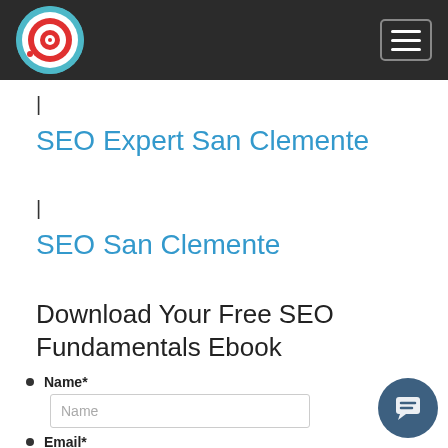SEO Expert San Clemente - navigation header with logo and hamburger menu
|
SEO Expert San Clemente
|
SEO San Clemente
Download Your Free SEO Fundamentals Ebook
Name*
Email*
Email